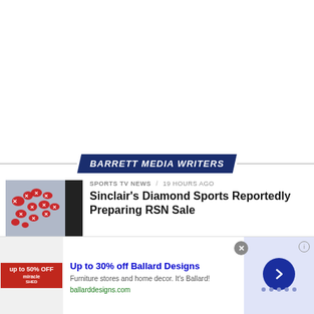[Figure (logo): Barrett Media Writers banner badge with dark navy background and italic bold text]
SPORTS TV NEWS / 19 hours ago
Sinclair's Diamond Sports Reportedly Preparing RSN Sale
[Figure (photo): US map thumbnail with red sports network coverage regions marked, black strip on right]
Up to 30% off Ballard Designs
Furniture stores and home decor. It's Ballard!
ballarddesigns.com